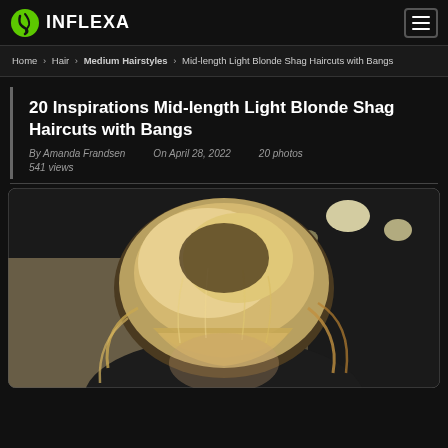INFLEXA
Home › Hair › Medium Hairstyles › Mid-length Light Blonde Shag Haircuts with Bangs
20 Inspirations Mid-length Light Blonde Shag Haircuts with Bangs
By Amanda Frandsen   On April 28, 2022   20 photos   541 views
[Figure (photo): Woman with mid-length light blonde shag haircut with bangs, photographed from behind/side angle showing layered blonde hair with bangs in a salon setting]